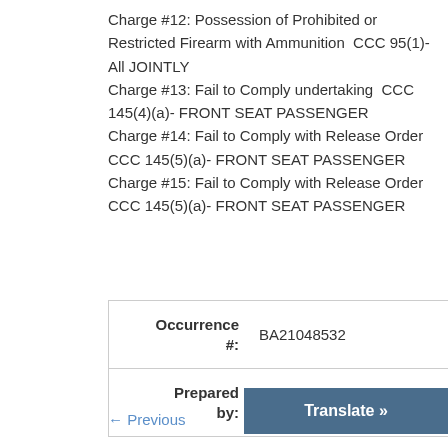Charge #12: Possession of Prohibited or Restricted Firearm with Ammunition  CCC 95(1)-All JOINTLY
Charge #13: Fail to Comply undertaking  CCC 145(4)(a)- FRONT SEAT PASSENGER
Charge #14: Fail to Comply with Release Order  CCC 145(5)(a)- FRONT SEAT PASSENGER
Charge #15: Fail to Comply with Release Order  CCC 145(5)(a)- FRONT SEAT PASSENGER
| Field | Value |
| --- | --- |
| Occurrence #: | BA21048532 |
| Prepared by: | Peter Leon, Corporate Communicatio |
← Previous
Translate »